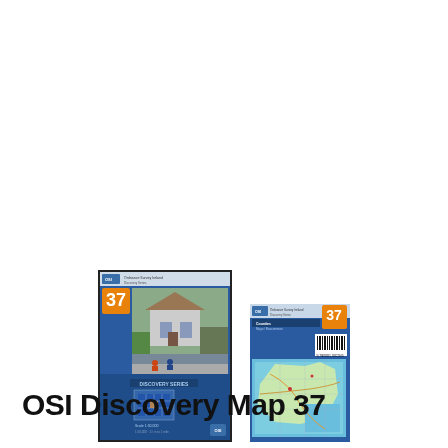[Figure (illustration): Front cover of OSI Discovery Map 37, showing a blue cover with orange number 37 badge, 'Discovery Series' text vertically along left side, a photo of a country house and cyclists, with a black border frame.]
[Figure (illustration): Back cover of OSI Discovery Map 37, showing a blue cover with orange number 37 badge, a small map thumbnail in aqua/light blue, a barcode, and OSI branding at the top.]
OSI Discovery Map 37